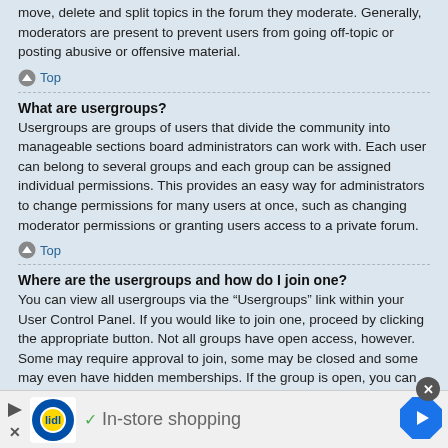move, delete and split topics in the forum they moderate. Generally, moderators are present to prevent users from going off-topic or posting abusive or offensive material.
Top
What are usergroups?
Usergroups are groups of users that divide the community into manageable sections board administrators can work with. Each user can belong to several groups and each group can be assigned individual permissions. This provides an easy way for administrators to change permissions for many users at once, such as changing moderator permissions or granting users access to a private forum.
Top
Where are the usergroups and how do I join one?
You can view all usergroups via the “Usergroups” link within your User Control Panel. If you would like to join one, proceed by clicking the appropriate button. Not all groups have open access, however. Some may require approval to join, some may be closed and some may even have hidden memberships. If the group is open, you can join it by clicking the appropriate button. If a group
[Figure (infographic): Lidl advertisement banner: Lidl logo, checkmark, 'In-store shopping' text, navigation arrow icon, close buttons]